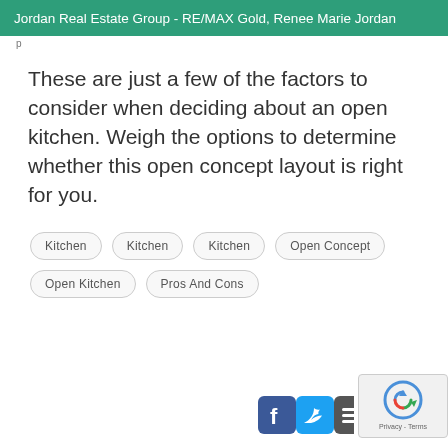Jordan Real Estate Group - RE/MAX Gold, Renee Marie Jordan
These are just a few of the factors to consider when deciding about an open kitchen. Weigh the options to determine whether this open concept layout is right for you.
Kitchen
Kitchen
Kitchen
Open Concept
Open Kitchen
Pros And Cons